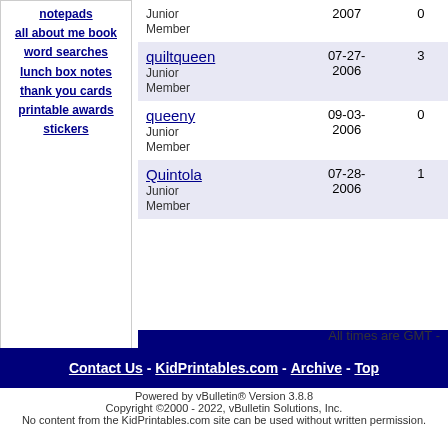notepads
all about me book
word searches
lunch box notes
thank you cards
printable awards
stickers
|  | Join Date | Posts |
| --- | --- | --- |
| Junior Member | 2007 | 0 |
| quiltqueen
Junior Member | 07-27-2006 | 3 |
| queeny
Junior Member | 09-03-2006 | 0 |
| Quintola
Junior Member | 07-28-2006 | 1 |
All times are GMT -
Contact Us - KidPrintables.com - Archive - Top
Powered by vBulletin® Version 3.8.8
Copyright ©2000 - 2022, vBulletin Solutions, Inc.
No content from the KidPrintables.com site can be used without written permission.